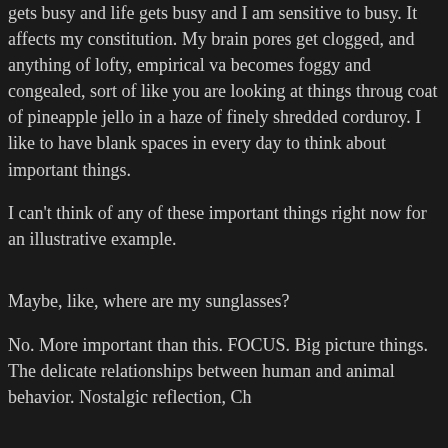gets busy and life gets busy and I am sensitive to busy. It affects my constitution. My brain pores get clogged, and anything of lofty, empirical value becomes foggy and congealed, sort of like you are looking at things through a coat of pineapple jello in a haze of finely shredded corduroy. I like to have blank spaces in every day to think about important things.
I can't think of any of these important things right now for an illustrative example.
Maybe, like, where are my sunglasses?
No. More important than this. FOCUS. Big picture things. The delicate relationships between human and animal behavior. Nostalgic reflection, Chloe Sevigny and do the people who write little poems for Hallmark cards wear those really high heeled platform shoes and pencil skirts? FOCUS. Can dog agility handling systems be described using words from French deconstructionism and which is more relevant if you just feel like making cupcakes? Why didn't I think up the Fantastic Mr. Fox?
These are poor examples but I am still brain dead so if you have any better ideas just let me know. Like this but better. And really, where ARE my sunglasses?